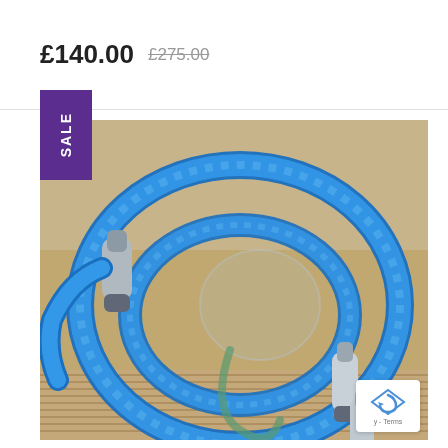£140.00  £275.00
[Figure (photo): Photo of a blue braided XLR audio cable with silver/grey connectors, coiled on a cardboard box surface. A purple SALE badge is overlaid in the top-left corner of the image.]